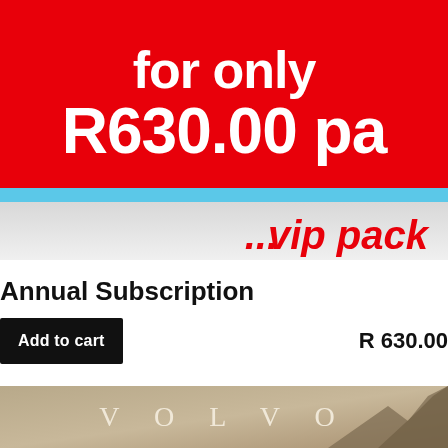[Figure (illustration): Red promotional banner with white bold text reading 'for only R630.00 pa', with a light blue horizontal stripe below, and a gray gradient section showing italic red text '...vip pack']
Annual Subscription
Add to cart   R 630.00
[Figure (photo): Tan/beige colored image showing the Volvo logo text in spaced serif letters, with a dark rocky or mountainous shape visible on the right side]